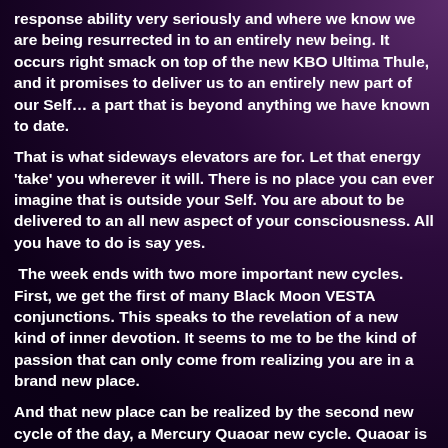response ability very seriously and where we know we are being resurrected in to an entirely new being. It occurs right smack on top of the new KBO Ultima Thule, and it promises to deliver us to an entirely new part of our Self… a part that is beyond anything we have known to date.
That is what sideways elevators are for. Let that energy 'take' you wherever it will. There is no place you can ever imagine that is outside your Self. You are about to be delivered to an all new aspect of your consciousness. All you have to do is say yes.
The week ends with two more important new cycles. First, we get the first of many Black Moon VESTA conjunctions. This speaks to the revelation of a new kind of inner devotion. It seems to me to be the kind of passion that can only come from realizing you are in a brand new place.
And that new place can be realized by the second new cycle of the day, a Mercury Quaoar new cycle. Quaoar is the highest version of Mercury (we know of so far), and it allows us to perceive what is beyond the capacity of the lower mind. This new cycle occurs in Capricorn, as does